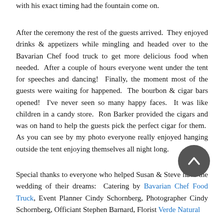with his exact timing had the fountain come on.
After the ceremony the rest of the guests arrived.  They enjoyed drinks & appetizers while mingling and headed over to the Bavarian Chef food truck to get more delicious food when needed.  After a couple of hours everyone went under the tent for speeches and dancing!  Finally, the moment most of the guests were waiting for happened.  The bourbon & cigar bars opened!  I've never seen so many happy faces.  It was like children in a candy store.  Ron Barker provided the cigars and was on hand to help the guests pick the perfect cigar for them.  As you can see by my photo everyone really enjoyed hanging outside the tent enjoying themselves all night long.
Special thanks to everyone who helped Susan & Steve have the wedding of their dreams:  Catering by Bavarian Chef Food Truck, Event Planner Cindy Schornberg, Photographer Cindy Schornberg, Officiant Stephen Barnard, Florist Verde Natural